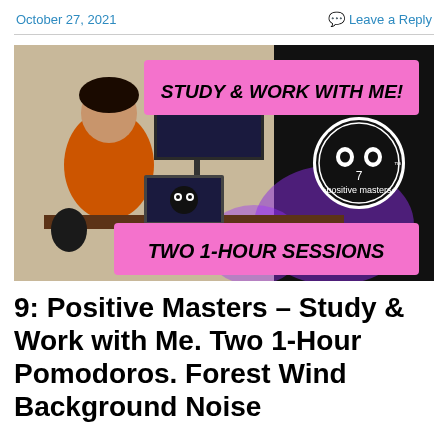October 27, 2021
Leave a Reply
[Figure (screenshot): Thumbnail image showing a person at a desk with monitors, overlaid with pink banner text 'STUDY & WORK WITH ME!' and 'TWO 1-HOUR SESSIONS', and a circular logo with eyes reading '+positive masters+ 7']
9: Positive Masters – Study & Work with Me. Two 1-Hour Pomodoros. Forest Wind Background Noise